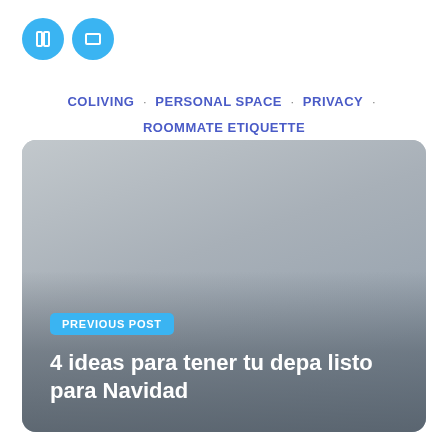[Figure (logo): Two teal/blue circular icon buttons with white square/rectangle icons inside]
COLIVING · PERSONAL SPACE · PRIVACY · ROOMMATE ETIQUETTE
[Figure (photo): Rounded rectangle card with gray placeholder image. Contains 'PREVIOUS POST' blue badge and title text '4 ideas para tener tu depa listo para Navidad' in white on dark gradient overlay.]